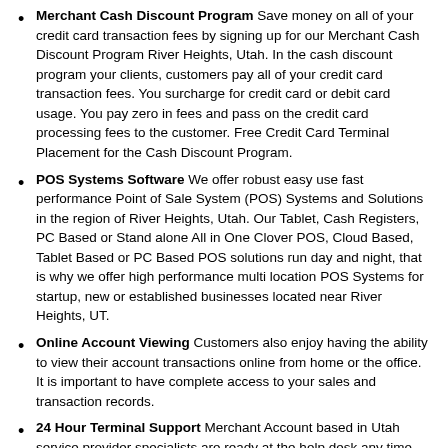Merchant Cash Discount Program Save money on all of your credit card transaction fees by signing up for our Merchant Cash Discount Program River Heights, Utah. In the cash discount program your clients, customers pay all of your credit card transaction fees. You surcharge for credit card or debit card usage. You pay zero in fees and pass on the credit card processing fees to the customer. Free Credit Card Terminal Placement for the Cash Discount Program.
POS Systems Software We offer robust easy use fast performance Point of Sale System (POS) Systems and Solutions in the region of River Heights, Utah. Our Tablet, Cash Registers, PC Based or Stand alone All in One Clover POS, Cloud Based, Tablet Based or PC Based POS solutions run day and night, that is why we offer high performance multi location POS Systems for startup, new or established businesses located near River Heights, UT.
Online Account Viewing Customers also enjoy having the ability to view their account transactions online from home or the office. It is important to have complete access to your sales and transaction records.
24 Hour Terminal Support Merchant Account based in Utah service provider specialists are ready at the help desk any time you have questions or are in need of technical